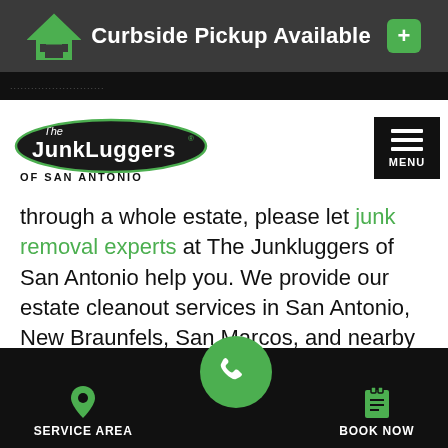Curbside Pickup Available
[Figure (logo): The Junkluggers of San Antonio logo - green house icon with white roof lines on dark oval background]
through a whole estate, please let junk removal experts at The Junkluggers of San Antonio help you. We provide our estate cleanout services in San Antonio, New Braunfels, San Marcos, and nearby Texas!
SERVICE AREA  BOOK NOW